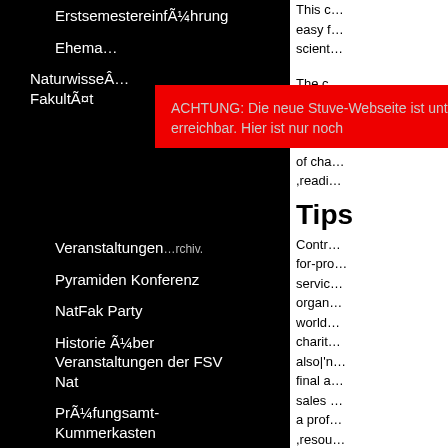Erstsemestereinführung
Ehema…
Naturwisse… Fakultät
[Figure (screenshot): Red alert popup box with text: ACHTUNG: Die neue Stuve-Webseite ist unter [link] erreichbar. Hier ist nur noch …Archiv. with close button X]
Veranstaltungen
Pyramiden Konferenz
NatFak Party
Historie Über Veranstaltungen der FSV Nat
Prüfungsamt-Kummerkasten
Fachschaftsinitiativen (FSIen)
Infos für FSIen
Vernetzungstreffen
Haushaltsmittel
Sitzungen und Protokolle
This c… easy f… scient…
The c… origin… websi… how b… of cha… ,readi…
Tips
Contr… for-pr… servic… organ… world… charit… also|'n… final a… sales … a prof… ,resou…
Bu…